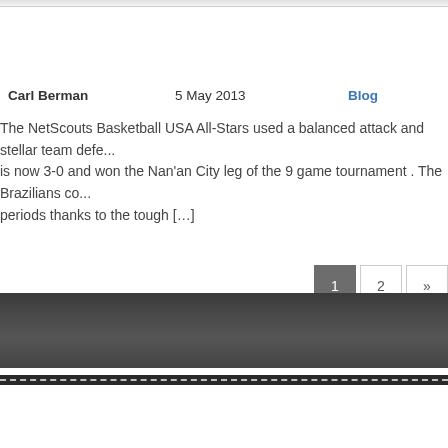Carl Berman    5 May 2013    Blog
The NetScouts Basketball USA All-Stars used a balanced attack and stellar team defense... is now 3-0 and won the Nan'an City leg of the 9 game tournament . The Brazilians co... periods thanks to the tough […]
1  2  »